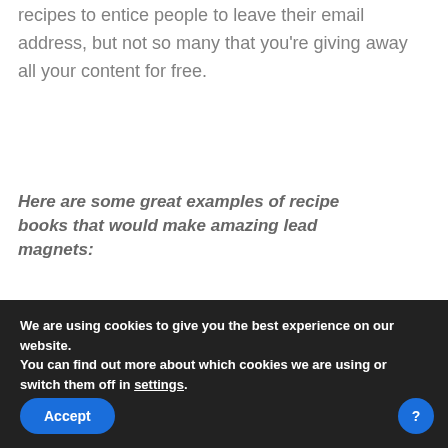recipes to entice people to leave their email address, but not so many that you're giving away all your content for free.
Here are some great examples of recipe books that would make amazing lead magnets:
We are using cookies to give you the best experience on our website.
You can find out more about which cookies we are using or switch them off in settings.